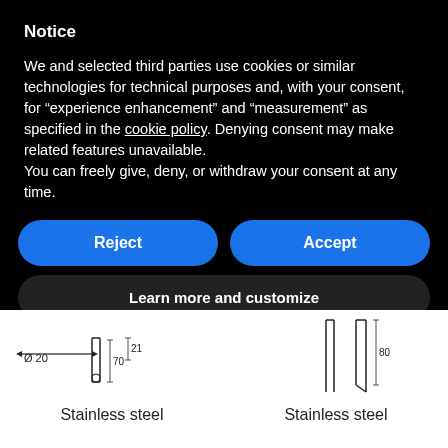Notice
We and selected third parties use cookies or similar technologies for technical purposes and, with your consent, for “experience enhancement” and “measurement” as specified in the cookie policy. Denying consent may make related features unavailable.
You can freely give, deny, or withdraw your consent at any time.
Reject
Accept
Learn more and customize
[Figure (engineering-diagram): Technical drawing of a stainless steel part, cylindrical rod with diameter Ø20, length dimensions 70 and 21 shown.]
Stainless steel
[Figure (engineering-diagram): Technical drawing of a stainless steel blade/flat part with dimension 80 shown.]
Stainless steel